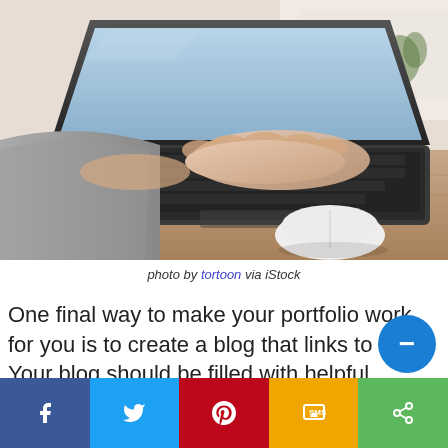[Figure (photo): Person's hands typing on a laptop keyboard on a wooden desk, with a white Apple Magic Mouse visible in the foreground and a coffee cup in the background. Warm, slightly blurred background.]
photo by tortoon via iStock
One final way to make your portfolio work for you is to create a blog that links to it. Your blog should be filled with helpful resources that your clients may want to learn about, i.e., how to photograp…